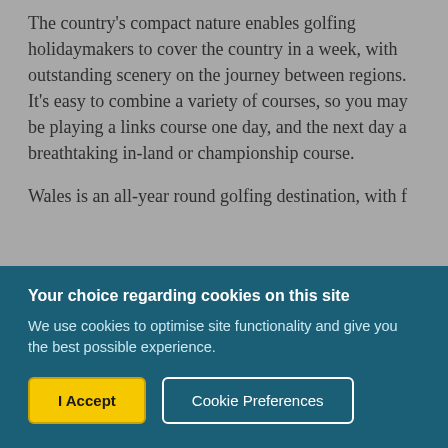The country's compact nature enables golfing holidaymakers to cover the country in a week, with outstanding scenery on the journey between regions. It's easy to combine a variety of courses, so you may be playing a links course one day, and the next day a breathtaking in-land or championship course.
Wales is an all-year round golfing destination, with f…
Your choice regarding cookies on this site
We use cookies to optimise site functionality and give you the best possible experience.